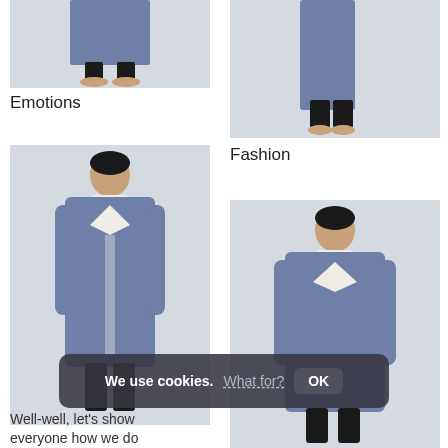[Figure (photo): Person wearing long blue coat, front lower body view, bare feet, white/grey background]
Emotions
[Figure (photo): Person wearing long blue coat, side view, bare feet, white/grey background]
Fashion
[Figure (photo): Woman wearing long blue coat, full body front-angled view, white background]
[Figure (photo): Woman wearing long blue coat, full body front view, white background]
We use cookies.  What for?  OK
Well-well, let's show everyone how we do